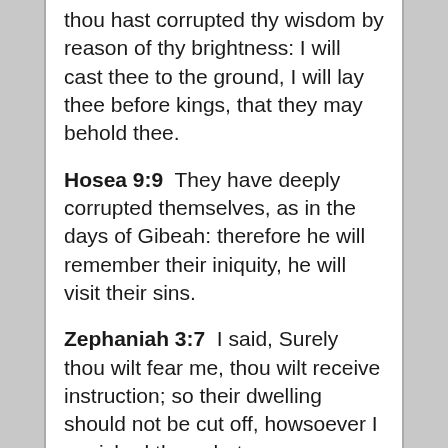thou hast corrupted thy wisdom by reason of thy brightness: I will cast thee to the ground, I will lay thee before kings, that they may behold thee.
Hosea 9:9  They have deeply corrupted themselves, as in the days of Gibeah: therefore he will remember their iniquity, he will visit their sins.
Zephaniah 3:7  I said, Surely thou wilt fear me, thou wilt receive instruction; so their dwelling should not be cut off, howsoever I punished them: but